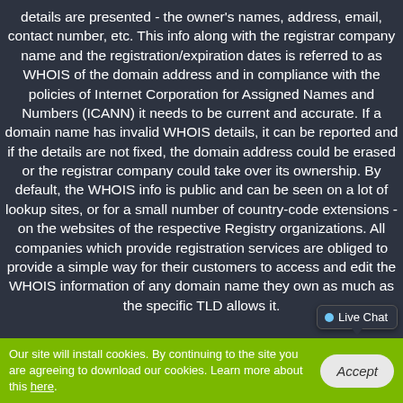details are presented - the owner's names, address, email, contact number, etc. This info along with the registrar company name and the registration/expiration dates is referred to as WHOIS of the domain address and in compliance with the policies of Internet Corporation for Assigned Names and Numbers (ICANN) it needs to be current and accurate. If a domain name has invalid WHOIS details, it can be reported and if the details are not fixed, the domain address could be erased or the registrar company could take over its ownership. By default, the WHOIS info is public and can be seen on a lot of lookup sites, or for a small number of country-code extensions - on the websites of the respective Registry organizations. All companies which provide registration services are obliged to provide a simple way for their customers to access and edit the WHOIS information of any domain name they own as much as the specific TLD allows it.
Our site will install cookies. By continuing to the site you are agreeing to download our cookies. Learn more about this here.